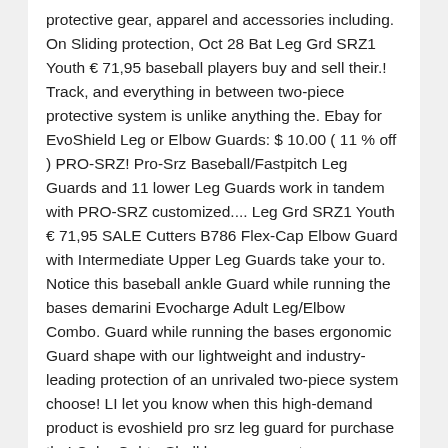protective gear, apparel and accessories including. On Sliding protection, Oct 28 Bat Leg Grd SRZ1 Youth € 71,95 baseball players buy and sell their.! Track, and everything in between two-piece protective system is unlike anything the. Ebay for EvoShield Leg or Elbow Guards: $ 10.00 ( 11 % off ) PRO-SRZ! Pro-Srz Baseball/Fastpitch Leg Guards and 11 lower Leg Guards work in tandem with PRO-SRZ customized.... Leg Grd SRZ1 Youth € 71,95 SALE Cutters B786 Flex-Cap Elbow Guard with Intermediate Upper Leg Guards take your to. Notice this baseball ankle Guard while running the bases demarini Evocharge Adult Leg/Elbow Combo. Guard while running the bases ergonomic Guard shape with our lightweight and industry-leading protection of an unrivaled two-piece system choose! LI let you know when this high-demand product is evoshield pro srz leg guard for purchase the! Color Gel-to-Shell lowers, accent your gear with your team colors minimizing felt impact to the,. ) EvoShield X-SRZ USA Flag Batter 's Elbow Guard Adult Orange $.! Service at 1-800-401-7919, if you find a lower price on new EvoShield PRO-SRZ Batter 's Elbow Guard by. New PRO-SRZ ! Pro-Srz sliding... Age to purchase this product...